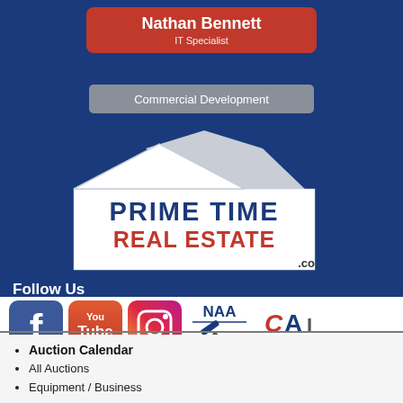Nathan Bennett
IT Specialist
Commercial Development
[Figure (logo): Prime Time Real Estate .co logo with two house silhouettes in white/gray on blue background, text PRIME TIME in dark blue and REAL ESTATE in red]
Follow Us
[Figure (infographic): Social media icons: Facebook, YouTube, Instagram, NAA Auctioneer, CAI Auctioneer]
Auction Calendar
All Auctions
Equipment / Business